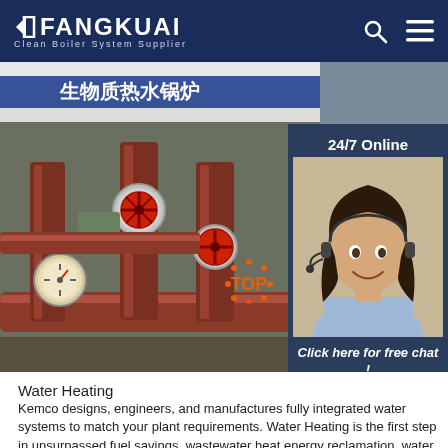FANGKUAI — Clean Boiler System Supplier
[Figure (photo): Industrial boiler room with red-handled pipe valves, gauges, and piping visible. Chinese text on white banner visible at top. On the right side, a 24/7 Online chat widget shows a smiling female customer service agent with headset, with text 'Click here for free chat!' and an orange QUOTATION button.]
Water Heating
Kemco designs, engineers, and manufactures fully integrated water systems to match your plant requirements. Water Heating is the first step in unsurpassed fuel savings, wastewater heat energy reclamation, water conservation, and sewer cost savings.